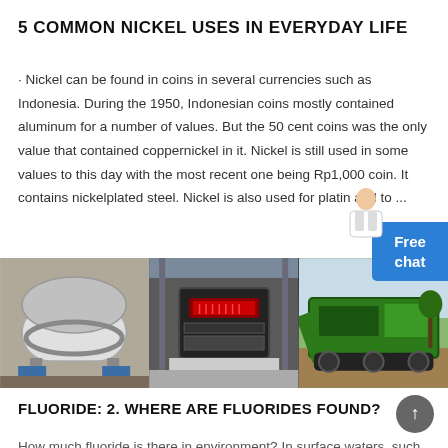5 COMMON NICKEL USES IN EVERYDAY LIFE
· Nickel can be found in coins in several currencies such as Indonesia. During the 1950, Indonesian coins mostly contained aluminum for a number of values. But the 50 cent coins was the only value that contained coppernickel in it. Nickel is still used in some values to this day with the most recent one being Rp1,000 coin. It contains nickelplated steel. Nickel is also used for platin and to ...
[Figure (photo): Three industrial machinery photos side by side: a rotary drum/kiln (left), a large industrial crusher or mill in a factory (center), and green mobile crushing equipment outdoors (right).]
FLUORIDE: 2. WHERE ARE FLUORIDES FOUND?
How much fluoride is there in environment? In surface waters, such